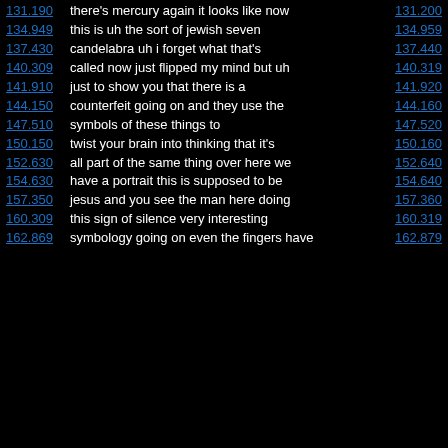131.190  there's mercury again it looks like now  131.200
134.949  this is uh the sort of jewish seven  134.959
137.430  candelabra uh i forget what that's  137.440
140.309  called now just flipped my mind but uh  140.319
141.910  just to show you that there is a  141.920
144.150  counterfeit going on and they use the  144.160
147.510  symbols of these things to  147.520
150.150  twist your brain into thinking that it's  150.160
152.630  all part of the same thing over here we  152.640
154.630  have a portrait this is supposed to be  154.640
157.350  jesus and you see the man here doing  157.360
160.309  this sign of silence very interesting  160.319
162.869  symbology going on even the fingers have  162.879